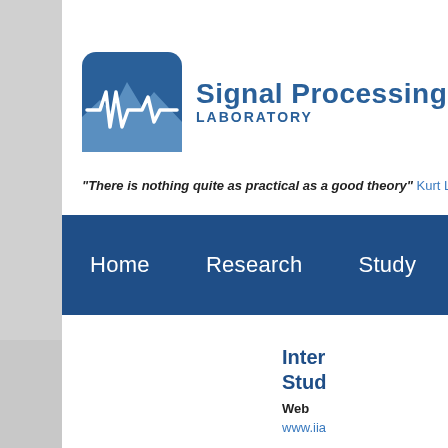[Figure (logo): Signal Processing Laboratory logo with waveform icon on blue rounded square background]
"There is nothing quite as practical as a good theory" Kurt Lewin
[Figure (screenshot): Navigation bar with dark blue background containing menu items: Home, Research, Study, Code (partially cut off)]
Inter... Stud...
Web
www.iia...
About u...
The Inte... process...